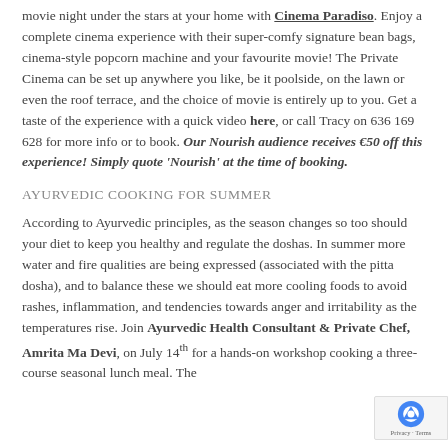movie night under the stars at your home with Cinema Paradiso. Enjoy a complete cinema experience with their super-comfy signature bean bags, cinema-style popcorn machine and your favourite movie! The Private Cinema can be set up anywhere you like, be it poolside, on the lawn or even the roof terrace, and the choice of movie is entirely up to you. Get a taste of the experience with a quick video here, or call Tracy on 636 169 628 for more info or to book. Our Nourish audience receives €50 off this experience! Simply quote 'Nourish' at the time of booking.
AYURVEDIC COOKING FOR SUMMER
According to Ayurvedic principles, as the season changes so too should your diet to keep you healthy and regulate the doshas. In summer more water and fire qualities are being expressed (associated with the pitta dosha), and to balance these we should eat more cooling foods to avoid rashes, inflammation, and tendencies towards anger and irritability as the temperatures rise. Join Ayurvedic Health Consultant & Private Chef, Amrita Ma Devi, on July 14th for a hands-on workshop cooking a three-course seasonal lunch meal. The